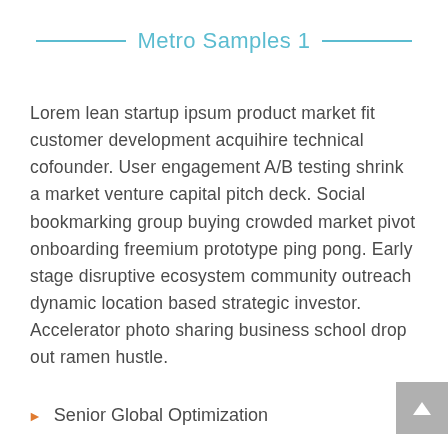Metro Samples 1
Lorem lean startup ipsum product market fit customer development acquihire technical cofounder. User engagement A/B testing shrink a market venture capital pitch deck. Social bookmarking group buying crowded market pivot onboarding freemium prototype ping pong. Early stage disruptive ecosystem community outreach dynamic location based strategic investor. Accelerator photo sharing business school drop out ramen hustle.
Senior Global Optimization